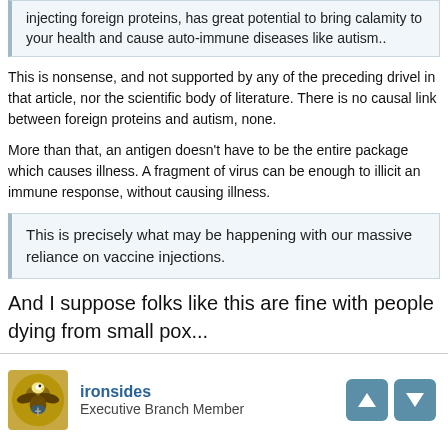injecting foreign proteins, has great potential to bring calamity to your health and cause auto-immune diseases like autism..
This is nonsense, and not supported by any of the preceding drivel in that article, nor the scientific body of literature. There is no causal link between foreign proteins and autism, none.
More than that, an antigen doesn't have to be the entire package which causes illness. A fragment of virus can be enough to illicit an immune response, without causing illness.
This is precisely what may be happening with our massive reliance on vaccine injections.
And I suppose folks like this are fine with people dying from small pox...
ironsides
Executive Branch Member